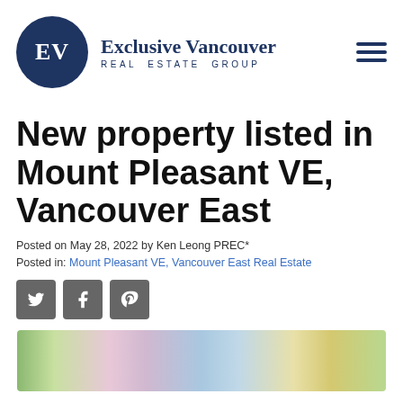[Figure (logo): Exclusive Vancouver Real Estate Group logo: dark navy circle with 'EV' initials in white serif font, next to the brand name 'Exclusive Vancouver REAL ESTATE GROUP' in navy, with a hamburger menu icon on the right]
New property listed in Mount Pleasant VE, Vancouver East
Posted on May 28, 2022 by Ken Leong PREC*
Posted in: Mount Pleasant VE, Vancouver East Real Estate
[Figure (infographic): Three social media sharing icons in grey square buttons: Twitter (bird icon), Facebook (f icon), Pinterest (p icon)]
[Figure (photo): Partial view of a property photo showing colourful spring blossoms and building exterior, cut off at bottom of page]